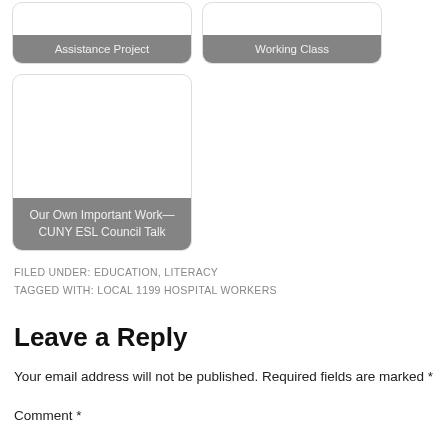[Figure (other): Two card-style thumbnails: 'Assistance Project' and 'Working Class' with gray label overlays]
[Figure (other): One large card-style thumbnail: 'Our Own Important Work—CUNY ESL Council Talk' with gray label overlay]
FILED UNDER: EDUCATION, LITERACY
TAGGED WITH: LOCAL 1199 HOSPITAL WORKERS
Leave a Reply
Your email address will not be published. Required fields are marked *
Comment *